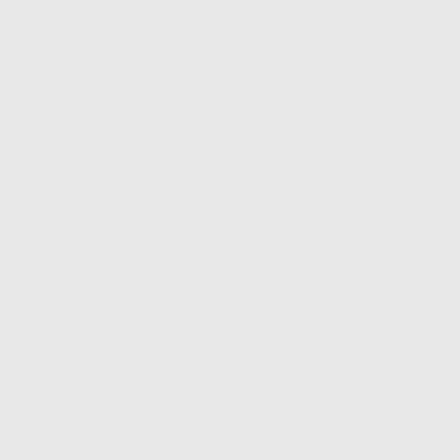mfortduringJuly and August downhere. So